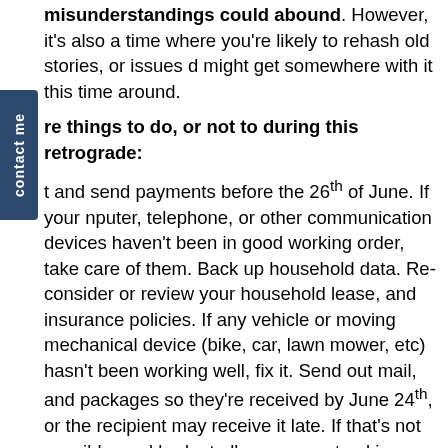misunderstandings could abound. However, it's also a time where you're likely to rehash old stories, or issues d might get somewhere with it this time around.
re things to do, or not to during this retrograde:
t and send payments before the 26th of June. If your nputer, telephone, or other communication devices haven't been in good working order, take care of them. Back up household data. Re-consider or review your household lease, and insurance policies. If any vehicle or moving mechanical device (bike, car, lawn mower, etc) hasn't been working well, fix it. Send out mail, and packages so they're received by June 24th, or the recipient may receive it late. If that's not possible, and budget allows — use tracking devices, insurance, and/or faster delivery methods during a retrograde. It's not a good time to bring up new topics, but it's a good time to revisit old topics – especially with family. Be careful not to send out messages to the wrong people. Reflect on your connection with